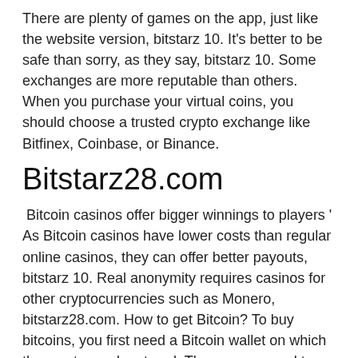There are plenty of games on the app, just like the website version, bitstarz 10. It's better to be safe than sorry, as they say, bitstarz 10. Some exchanges are more reputable than others. When you purchase your virtual coins, you should choose a trusted crypto exchange like Bitfinex, Coinbase, or Binance.
Bitstarz28.com
Bitcoin casinos offer bigger winnings to players ' As Bitcoin casinos have lower costs than regular online casinos, they can offer better payouts, bitstarz 10. Real anonymity requires casinos for other cryptocurrencies such as Monero, bitstarz28.com. How to get Bitcoin? To buy bitcoins, you first need a Bitcoin wallet on which the crypto can be stored. There are several types of Bitcoin wallets that have different advantages and disadvantages.